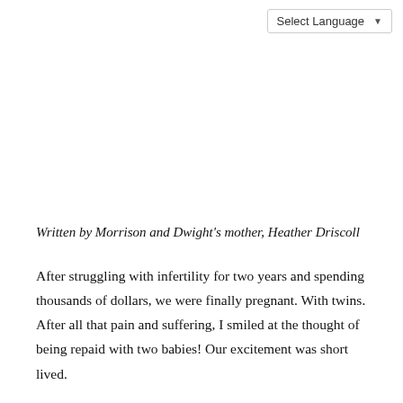Select Language
Written by Morrison and Dwight's mother, Heather Driscoll
After struggling with infertility for two years and spending thousands of dollars, we were finally pregnant. With twins. After all that pain and suffering, I smiled at the thought of being repaid with two babies! Our excitement was short lived.
At 20 weeks my cervix began shortening, and at 22